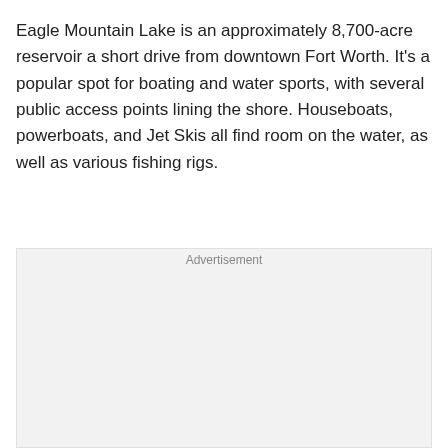Eagle Mountain Lake is an approximately 8,700-acre reservoir a short drive from downtown Fort Worth. It's a popular spot for boating and water sports, with several public access points lining the shore. Houseboats, powerboats, and Jet Skis all find room on the water, as well as various fishing rigs.
[Figure (other): Advertisement placeholder box]